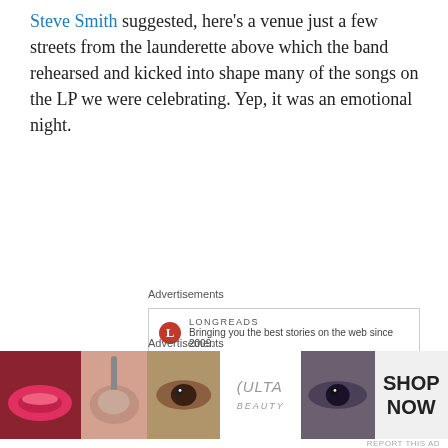Steve Smith suggested, here’s a venue just a few streets from the launderette above which the band rehearsed and kicked into shape many of the songs on the LP we were celebrating. Yep, it was an emotional night.
Advertisements
[Figure (other): Longreads advertisement: red circle logo with L, text LONGREADS, tagline Bringing you the best stories on the web since 2009.]
The price of its beer aside, I love the Boileroom. But you’ve got to get it right. Head to the bar when it’s packed, and chances are you won’t get that top spot back again. If you do though – even if the closeness of fellow punters after the last two years may give you palpitations – it’s a
Advertisements
[Figure (other): Ulta Beauty advertisement showing cosmetic close-up photos and SHOP NOW text.]